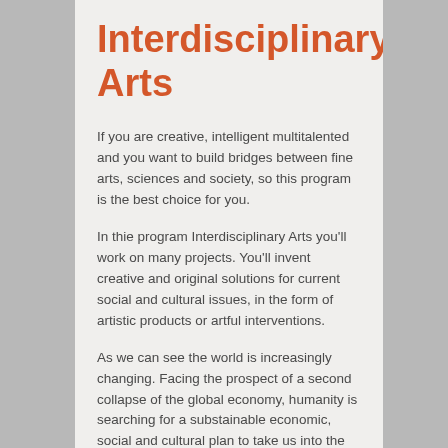Interdisciplinary Arts
If you are creative, intelligent multitalented and you want to build bridges between fine arts, sciences and society, so this program is the best choice for you.
In thie program Interdisciplinary Arts you'll work on many projects. You'll invent creative and original solutions for current social and cultural issues, in the form of artistic products or artful interventions.
As we can see the world is increasingly changing. Facing the prospect of a second collapse of the global economy, humanity is searching for a substainable economic, social and cultural plan to take us into the future.
The boundaries between disciplines are no longer of any significance. Innovation is taking place in between science, economics and arts. If you want to be part of this future of innovative and artistic